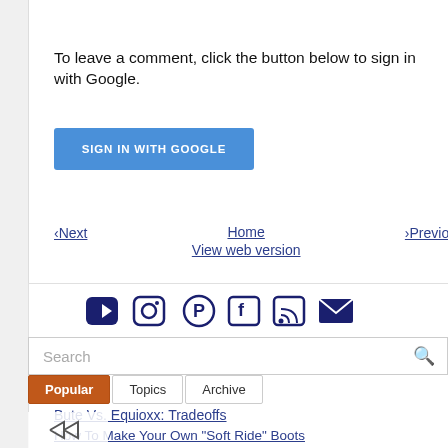To leave a comment, click the button below to sign in with Google.
[Figure (other): Blue 'SIGN IN WITH GOOGLE' button]
‹Next
Home
View web version
›Previous
[Figure (other): Social media icons: YouTube, Instagram, Pinterest, Facebook, RSS, Email]
Search
Popular   Topics   Archive
Bute Vs. Equioxx: Tradeoffs
How To Make Your Own "Soft Ride" Boots
In Which Solo Can Fly No More
A Different Perspective On Mouthy Horses